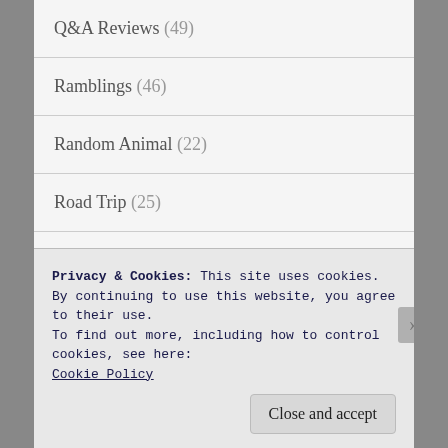Q&A Reviews (49)
Ramblings (46)
Random Animal (22)
Road Trip (25)
Saturday Matinee (7)
Science Fiction (97)
Short Film (7)
Privacy & Cookies: This site uses cookies. By continuing to use this website, you agree to their use.
To find out more, including how to control cookies, see here: Cookie Policy
Close and accept